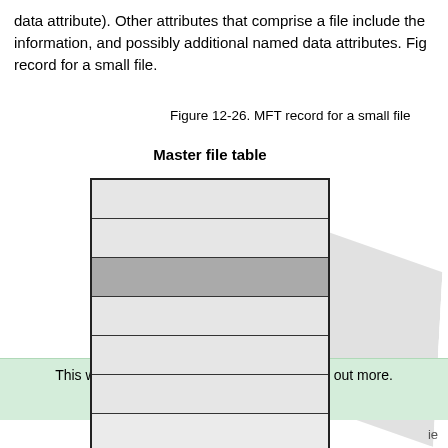data attribute). Other attributes that comprise a file include the information, and possibly additional named data attributes. Fig record for a small file.
Figure 12-26. MFT record for a small file
[Figure (schematic): A diagram of the Master file table showing multiple horizontal rows (records), with the third row shaded darker gray to indicate a selected or highlighted record. The last row is taller and contains an ellipsis (...) indicating more rows. A gray shadow appears behind the table.]
This website uses cookies. Click here to find out more. Accept cookies
ie